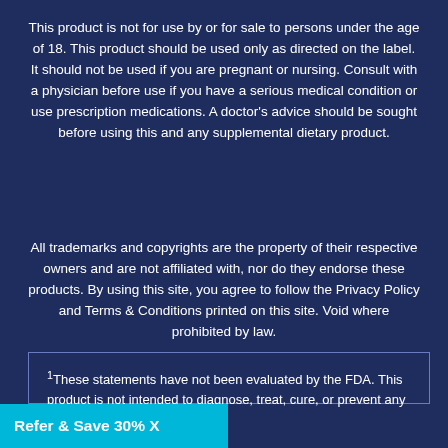This product is not for use by or for sale to persons under the age of 18. This product should be used only as directed on the label. It should not be used if you are pregnant or nursing. Consult with a physician before use if you have a serious medical condition or use prescription medications. A doctor's advice should be sought before using this and any supplemental dietary product.
All trademarks and copyrights are the property of their respective owners and are not affiliated with, nor do they endorse these products. By using this site, you agree to follow the Privacy Policy and Terms & Conditions printed on this site. Void where prohibited by law.
¹These statements have not been evaluated by the FDA. This product is not intended to diagnose, treat, cure, or prevent any disease.
Refer & Save 30% X